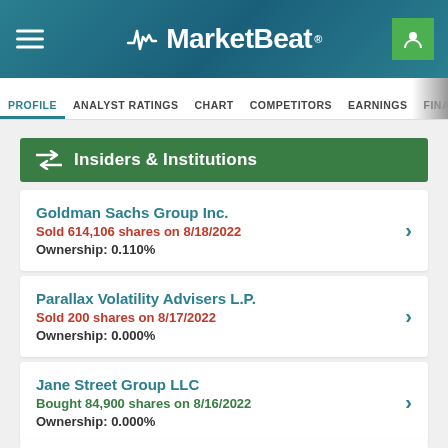MarketBeat
Insiders & Institutions
Goldman Sachs Group Inc. | Sold 614,106 shares on 8/18/2022 | Ownership: 0.110%
Parallax Volatility Advisers L.P. | Sold 200 shares on 8/17/2022 | Ownership: 0.000%
Jane Street Group LLC | Bought 84,900 shares on 8/16/2022 | Ownership: 0.000%
Wolverine Trading LLC